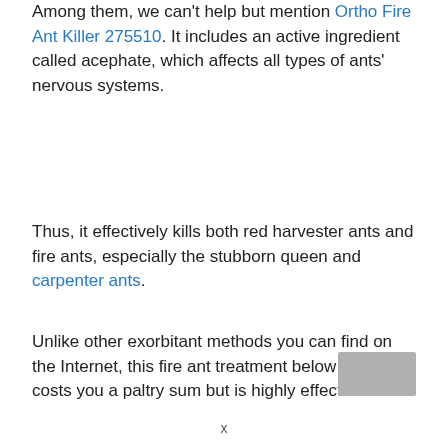Among them, we can't help but mention Ortho Fire Ant Killer 275510. It includes an active ingredient called acephate, which affects all types of ants' nervous systems.
Thus, it effectively kills both red harvester ants and fire ants, especially the stubborn queen and carpenter ants.
Unlike other exorbitant methods you can find on the Internet, this fire ant treatment below only costs you a paltry sum but is highly effective.